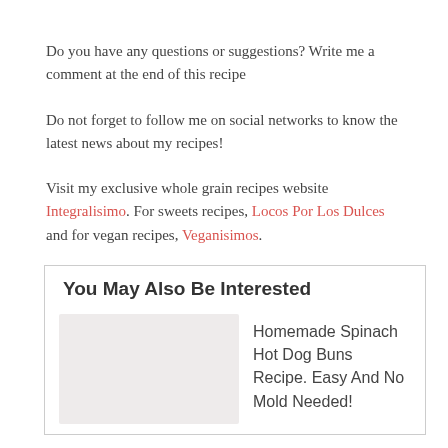Do you have any questions or suggestions? Write me a comment at the end of this recipe
Do not forget to follow me on social networks to know the latest news about my recipes!
Visit my exclusive whole grain recipes website Integralisimo. For sweets recipes, Locos Por Los Dulces and for vegan recipes, Veganisimos.
You May Also Be Interested
Homemade Spinach Hot Dog Buns Recipe. Easy And No Mold Needed!